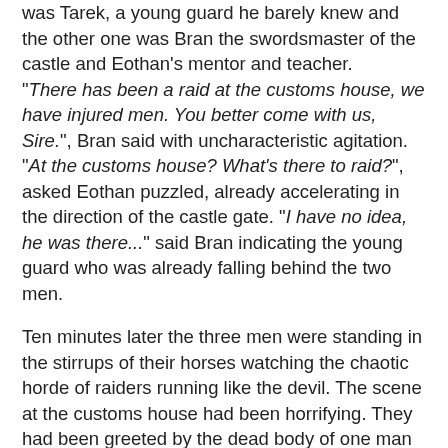was Tarek, a young guard he barely knew and the other one was Bran the swordsmaster of the castle and Eothan's mentor and teacher. "There has been a raid at the customs house, we have injured men. You better come with us, Sire.", Bran said with uncharacteristic agitation. "At the customs house? What's there to raid?", asked Eothan puzzled, already accelerating in the direction of the castle gate. "I have no idea, he was there..." said Bran indicating the young guard who was already falling behind the two men.
Ten minutes later the three men were standing in the stirrups of their horses watching the chaotic horde of raiders running like the devil. The scene at the customs house had been horrifying. They had been greeted by the dead body of one man and the dying figure of one of Eothan's other teachers; Alun, the former sowrdsmaster and one of Eothan's father's closest confidants was lying in a pool of blood. He was also the reason they were not charging the strangers. "Don't follow them, go straight to your father and tell him what happened. Go! Now!", he had insisted with as much strength as he had left.
Eothan started to do just that, but...